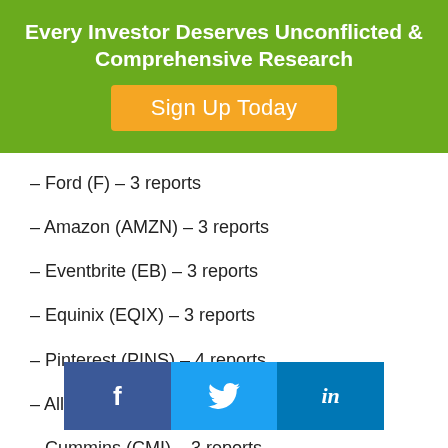Every Investor Deserves Unconflicted & Comprehensive Research
Sign Up Today
– Ford (F) – 3 reports
– Amazon (AMZN) – 3 reports
– Eventbrite (EB) – 3 reports
– Equinix (EQIX) – 3 reports
– Pinterest (PINS) – 4 reports
– Allstate (ALL) – 3 reports
– Cummins (CMI) – 3 reports
– Meritage Homes (MTH) – 3 reports
– MasTec Inc. (MTZ) – 3 reports
– AMC Entertainment (AMC) – 3 reports